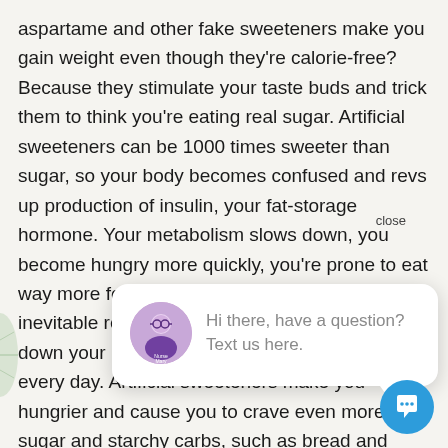aspartame and other fake sweeteners make you gain weight even though they're calorie-free? Because they stimulate your taste buds and trick them to think you're eating real sugar. Artificial sweeteners can be 1000 times sweeter than sugar, so your body becomes confused and revs up production of insulin, your fat-storage hormone. Your metabolism slows down, you become hungry more quickly, you're prone to eat way more food (especially c… inevitable re… down your m… every day. Artificial sweeteners make you hungrier and cause you to crave even more sugar and starchy carbs, such as bread and pasta.
[Figure (other): Chat popup overlay with avatar photo, text 'Hi there, have a question? Text us here.' and a close button, plus a blue circular chat icon button at bottom right.]